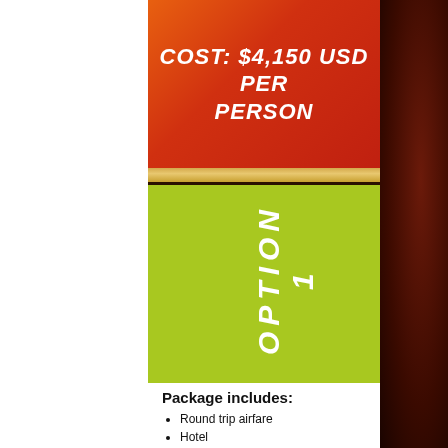COST: $4,150 USD per PERSON
[Figure (illustration): Lime green rectangular section with vertically rotated white italic bold text reading 'OPTION 1']
Package includes:
Round trip airfare
Hotel